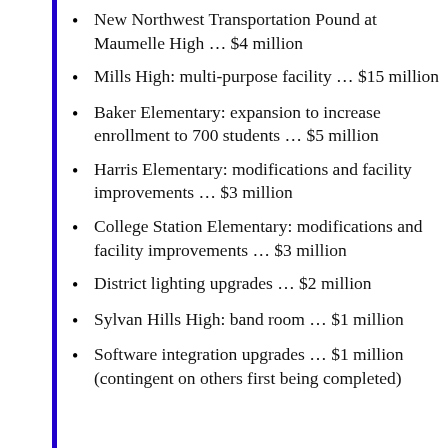New Northwest Transportation Pound at Maumelle High … $4 million
Mills High: multi-purpose facility … $15 million
Baker Elementary: expansion to increase enrollment to 700 students … $5 million
Harris Elementary: modifications and facility improvements … $3 million
College Station Elementary: modifications and facility improvements … $3 million
District lighting upgrades … $2 million
Sylvan Hills High: band room … $1 million
Software integration upgrades … $1 million (contingent on others first being completed)